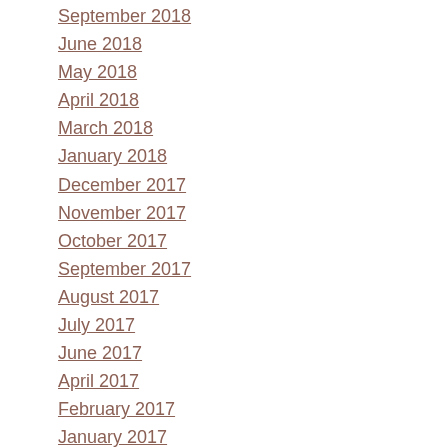September 2018
June 2018
May 2018
April 2018
March 2018
January 2018
December 2017
November 2017
October 2017
September 2017
August 2017
July 2017
June 2017
April 2017
February 2017
January 2017
December 2016
November 2016
October 2016